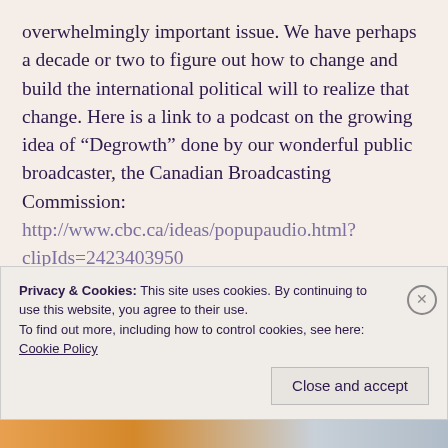overwhelmingly important issue. We have perhaps a decade or two to figure out how to change and build the international political will to realize that change. Here is a link to a podcast on the growing idea of “Degrowth” done by our wonderful public broadcaster, the Canadian Broadcasting Commission: http://www.cbc.ca/ideas/popupaudio.html?clipIds=2423403950
I listened to it recently. It explains some of the hard choices that will have to be made. Our Native Peoples
Privacy & Cookies: This site uses cookies. By continuing to use this website, you agree to their use. To find out more, including how to control cookies, see here: Cookie Policy
Close and accept